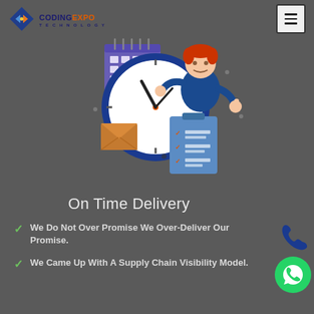[Figure (logo): CodingExpo Technology logo with diamond/arrow icon in blue and orange]
[Figure (illustration): Illustration of a cartoon man with clock, calendar, checklist, and envelope representing on-time delivery]
On Time Delivery
We Do Not Over Promise We Over-Deliver Our Promise.
We Came Up With A Supply Chain Visibility Model.
[Figure (illustration): Phone/call icon in dark blue]
[Figure (illustration): WhatsApp icon green circle with phone handset]